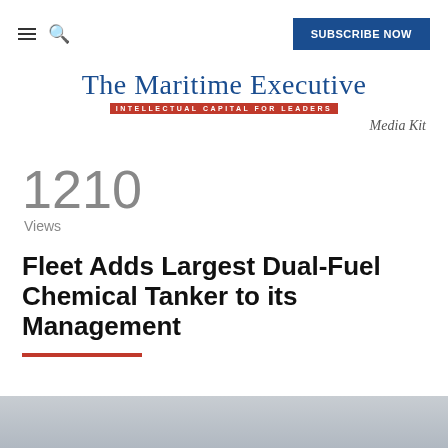≡  🔍   SUBSCRIBE NOW
[Figure (logo): The Maritime Executive logo with tagline 'INTELLECTUAL CAPITAL FOR LEADERS' in red bar, and 'Media Kit' text to the right]
Media Kit
1210
Views
Fleet Adds Largest Dual-Fuel Chemical Tanker to its Management
[Figure (photo): Partial view of a ship or maritime scene, gray tones, visible at bottom of page]